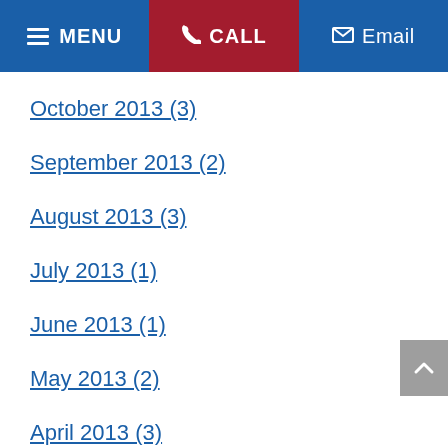MENU | CALL | Email
October 2013 (3)
September 2013 (2)
August 2013 (3)
July 2013 (1)
June 2013 (1)
May 2013 (2)
April 2013 (3)
March 2013 (4)
December 2012 (3)
November 2012 (2)
October 2012 (4)